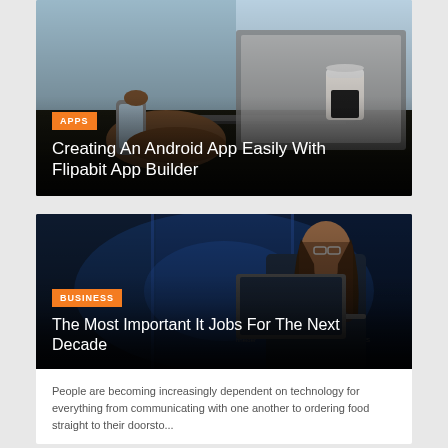[Figure (photo): Person using smartphone and laptop on a desk with a coffee cup, blurred office background]
APPS
Creating An Android App Easily With Flipabit App Builder
[Figure (photo): Woman with long hair working on a laptop in a dark tech environment with blue lighting, Intel and other brand logos visible]
BUSINESS
The Most Important It Jobs For The Next Decade
People are becoming increasingly dependent on technology for everything from communicating with one another to ordering food straight to their doorsto...